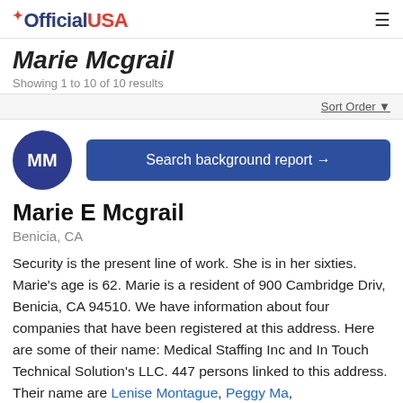OfficialUSA
Marie Mcgrail
Showing 1 to 10 of 10 results
Sort Order
[Figure (other): Avatar circle with initials MM and Search background report button]
Marie E Mcgrail
Benicia, CA
Security is the present line of work. She is in her sixties. Marie's age is 62. Marie is a resident of 900 Cambridge Driv, Benicia, CA 94510. We have information about four companies that have been registered at this address. Here are some of their name: Medical Staffing Inc and In Touch Technical Solution's LLC. 447 persons linked to this address. Their name are Lenise Montague, Peggy Ma,